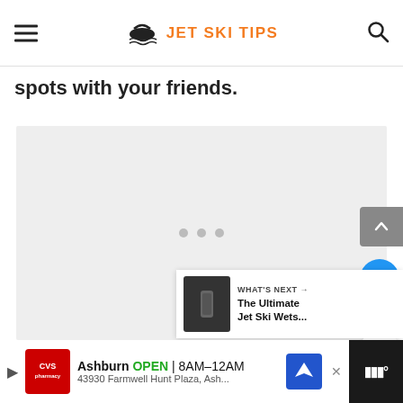JET SKI TIPS
spots with your friends.
[Figure (other): Gray placeholder content block with three dots indicating loading or carousel]
WHAT'S NEXT → The Ultimate Jet Ski Wets...
[Figure (other): Bottom advertisement bar: CVS Pharmacy - Ashburn OPEN 8AM–12AM, 43930 Farmwell Hunt Plaza, Ash...]